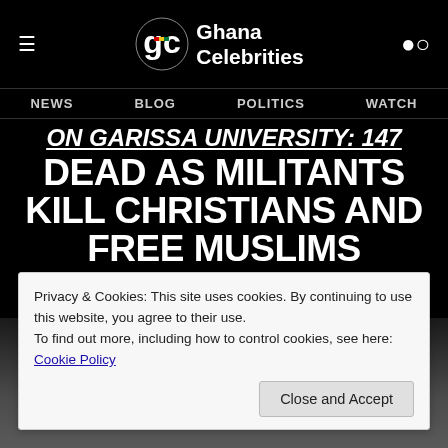Ghana Celebrities
NEWS  BLOG  POLITICS  WATCH
ON GARISSA UNIVERSITY: 147 DEAD AS MILITANTS KILL CHRISTIANS AND FREE MUSLIMS
[Figure (photo): Photo of people, partially visible at bottom of page, dark background]
Privacy & Cookies: This site uses cookies. By continuing to use this website, you agree to their use.
To find out more, including how to control cookies, see here: Cookie Policy
Close and Accept